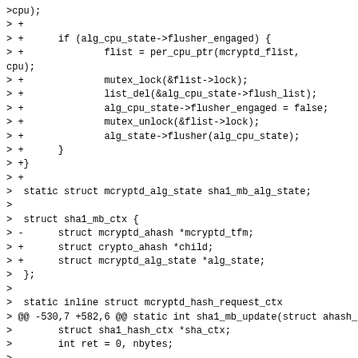>cpu);
> +
> +      if (alg_cpu_state->flusher_engaged) {
> +              flist = per_cpu_ptr(mcryptd_flist,
cpu);
> +              mutex_lock(&flist->lock);
> +              list_del(&alg_cpu_state->flush_list);
> +              alg_cpu_state->flusher_engaged = false;
> +              mutex_unlock(&flist->lock);
> +              alg_state->flusher(alg_cpu_state);
> +      }
> +}
> +
>  static struct mcryptd_alg_state sha1_mb_alg_state;
>
>  struct sha1_mb_ctx {
> -      struct mcryptd_ahash *mcryptd_tfm;
> +      struct crypto_ahash *child;
> +      struct mcryptd_alg_state *alg_state;
>  };
>
>  static inline struct mcryptd_hash_request_ctx
> @@ -530,7 +582,6 @@ static int sha1_mb_update(struct ahash_request *areq)
>        struct sha1_hash_ctx *sha_ctx;
>        int ret = 0, nbytes;
>
> -
>        /* sanity check */
>        if (rctx->tag.cpu != smp_processor_id()) {